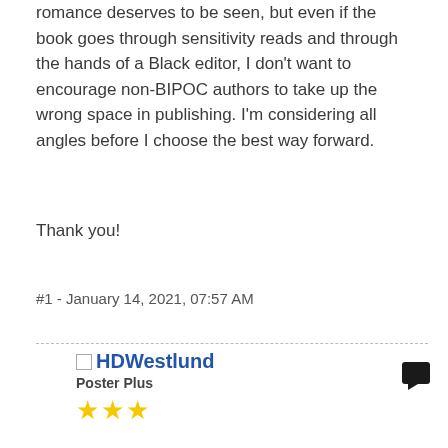romance deserves to be seen, but even if the book goes through sensitivity reads and through the hands of a Black editor, I don't want to encourage non-BIPOC authors to take up the wrong space in publishing. I'm considering all angles before I choose the best way forward.
Thank you!
#1 - January 14, 2021, 07:57 AM
HDWestlund
Poster Plus
This is hard, because as a parent and former bookseller, I prefer to pick up books written from a viewpoint I can guarantee is authentic. i.e., a Black character written by a Black writer. But as a writer, I know that I am capable of